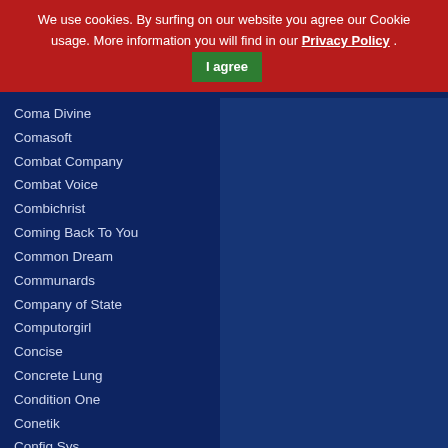We use cookies. By surfing on our website you agree our Cookie usage. More information you will find in our Privacy Policy . I agree
Coma Divine
Comasoft
Combat Company
Combat Voice
Combichrist
Coming Back To You
Common Dream
Communards
Company of State
Computorgirl
Concise
Concrete Lung
Condition One
Conetik
Config.Sys
Conjure One
Conscience
Contagious Orgasm
Container 90
Contrast
Contre Jour
Control Room
Control-System